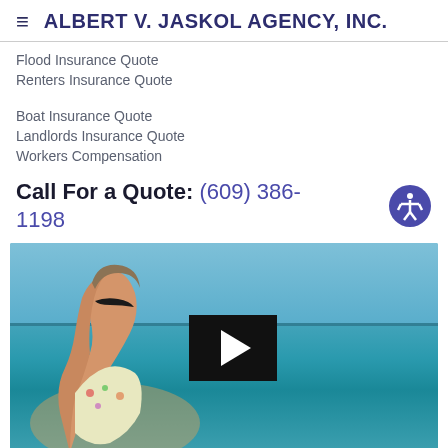ALBERT V. JASKOL AGENCY, INC.
Flood Insurance Quote
Renters Insurance Quote
Boat Insurance Quote
Landlords Insurance Quote
Workers Compensation
Call For a Quote:  (609) 386-1198
[Figure (photo): Video thumbnail showing a woman in sunglasses looking up at the sky on a beach with turquoise water in the background, with a play button overlay in the center]